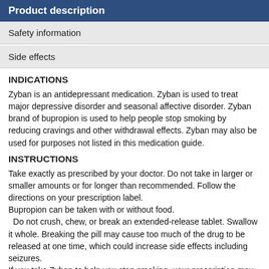Product description
Safety information
Side effects
INDICATIONS
Zyban is an antidepressant medication. Zyban is used to treat major depressive disorder and seasonal affective disorder. Zyban brand of bupropion is used to help people stop smoking by reducing cravings and other withdrawal effects. Zyban may also be used for purposes not listed in this medication guide.
INSTRUCTIONS
Take exactly as prescribed by your doctor. Do not take in larger or smaller amounts or for longer than recommended. Follow the directions on your prescription label.
Bupropion can be taken with or without food.
  Do not crush, chew, or break an extended-release tablet. Swallow it whole. Breaking the pill may cause too much of the drug to be released at one time, which could increase side effects including seizures.
If you take Zyban to help you stop smoking, your prescription may...